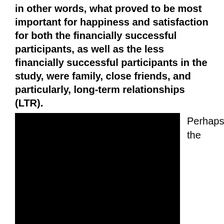in other words, what proved to be most important for happiness and satisfaction for both the financially successful participants, as well as the less financially successful participants in the study, were family, close friends, and particularly, long-term relationships (LTR).
[Figure (photo): A large black/dark image, likely a photograph that is very dark or blacked out.]
Perhaps the conclusions of the study seem obvious. All humans share a need for connection, safety, love, touch